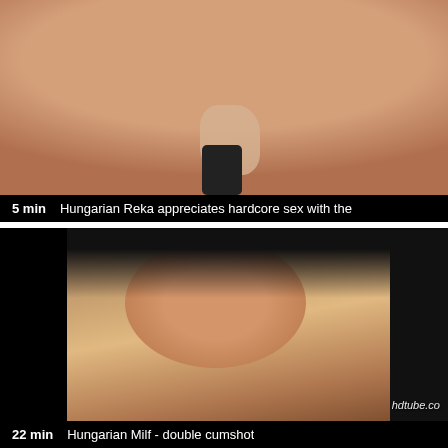[Figure (photo): Video thumbnail showing a close-up scene, with overlay bar at bottom]
5 min  Hungarian Reka appreciates hardcore sex with the
[Figure (photo): Video thumbnail showing a dark-haired woman close-up, with hdtube.co watermark]
22 min  Hungarian Milf - double cumshot